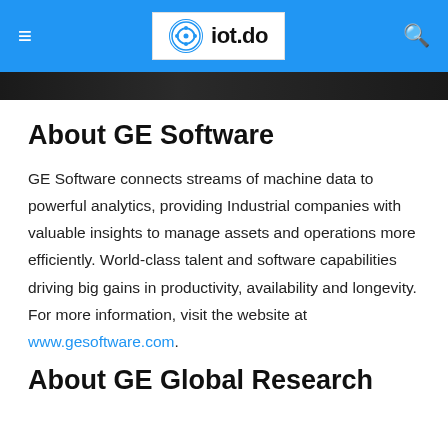iot.do
[Figure (screenshot): Dark image strip at top of page content area]
About GE Software
GE Software connects streams of machine data to powerful analytics, providing Industrial companies with valuable insights to manage assets and operations more efficiently. World-class talent and software capabilities driving big gains in productivity, availability and longevity. For more information, visit the website at www.gesoftware.com.
About GE Global Research